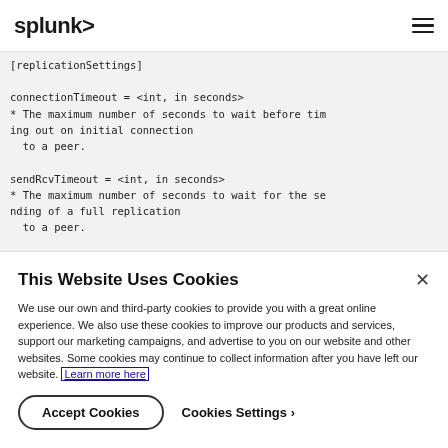splunk>
[Figure (screenshot): Splunk documentation page showing code block with replication settings configuration: connectionTimeout = <int, in seconds> with description, and sendRcvTimeout = <int, in seconds> with description]
This Website Uses Cookies
We use our own and third-party cookies to provide you with a great online experience. We also use these cookies to improve our products and services, support our marketing campaigns, and advertise to you on our website and other websites. Some cookies may continue to collect information after you have left our website. Learn more here
Accept Cookies   Cookies Settings ›